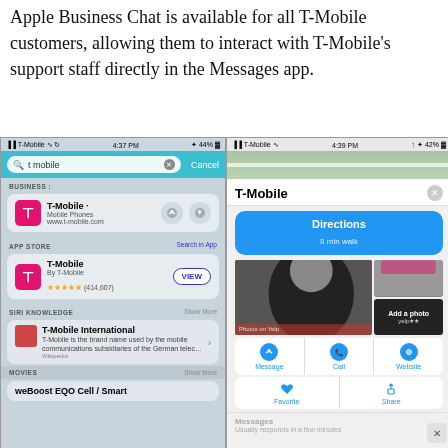Apple Business Chat is available for all T-Mobile customers, allowing them to interact with T-Mobile's support staff directly in the Messages app.
[Figure (screenshot): Two iPhone screenshots side by side. Left screenshot shows iOS Spotlight/Siri search results for 't mobile' including a BUSINESS section with T-Mobile listing, APP STORE section with T-Mobile app (4 stars, 414,607 ratings) with VIEW button, SIRI KNOWLEDGE section showing T-Mobile International Wikipedia entry. Right screenshot shows a Maps/Apple Business listing for T-Mobile with Directions button (8 min walk), photos from Yelp, and action buttons for Message, Call, Website, Favorite, Share, plus Messages section saying 'Usually responds in a few minutes'.]